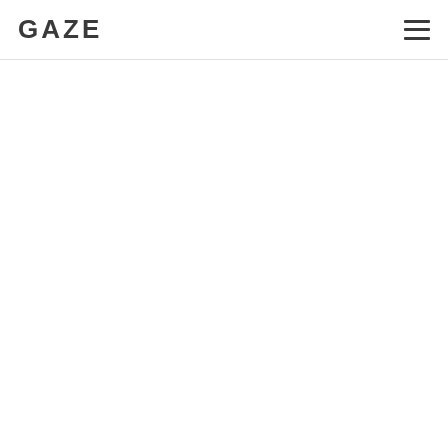GAZE
[Figure (other): Blank white content area below navigation header]